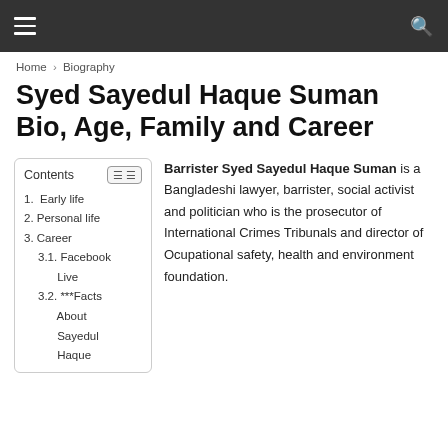≡  🔍
Home › Biography
Syed Sayedul Haque Suman Bio, Age, Family and Career
Contents
1. Early life
2. Personal life
3. Career
3.1. Facebook Live
3.2. ***Facts About Sayedul Haque
Barrister Syed Sayedul Haque Suman is a Bangladeshi lawyer, barrister, social activist and politician who is the prosecutor of International Crimes Tribunals and director of Ocupational safety, health and environment foundation.